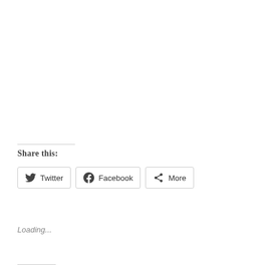Share this:
Twitter  Facebook  More
Loading...